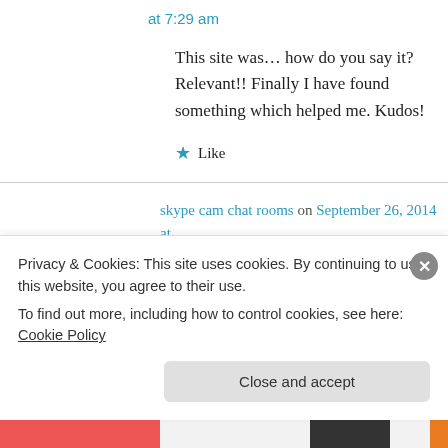at 7:29 am
This site was… how do you say it? Relevant!! Finally I have found something which helped me. Kudos!
★ Like
skype cam chat rooms on September 26, 2014 at 9:18 am
Not only that, there are 16 different languages
Privacy & Cookies: This site uses cookies. By continuing to use this website, you agree to their use.
To find out more, including how to control cookies, see here: Cookie Policy
Close and accept